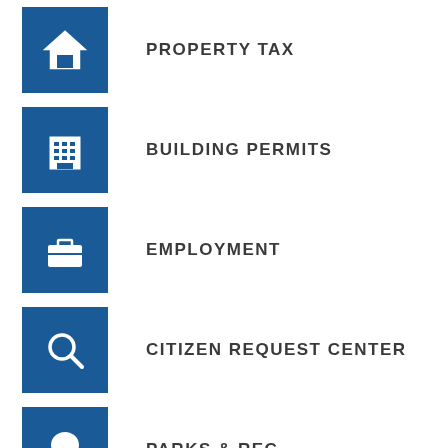PROPERTY TAX
BUILDING PERMITS
EMPLOYMENT
CITIZEN REQUEST CENTER
PARKS & REC
VIDEO TOURBOOK